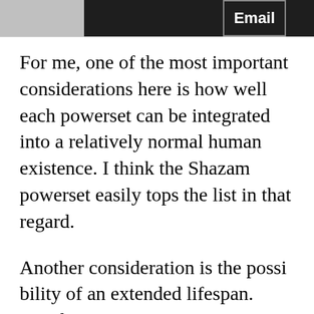Email
For me, one of the most important considerations here is how well each powerset can be integrated into a relatively normal human existence. I think the Shazam powerset easily tops the list in that regard.
Another consideration is the possibility of an extended lifespan. You'd get on... Health of Solomon...